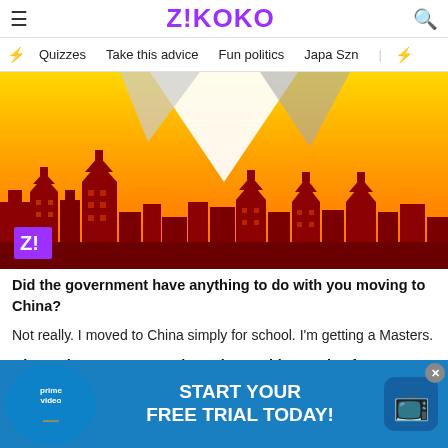Z!KOKO
Quizzes  Take this advice  Fun politics  Japa Szn
[Figure (illustration): Stylized illustration of Chinese pagoda skyline silhouette in red and dark red tones against an orange and yellow gradient background, with a white triangular shape (envelope/paper) in the center top. Z! logo in bottom-left corner.]
Did the government have anything to do with you moving to China?
Not really. I moved to China simply for school. I'm getting a Masters.
Oh word. How easy was it getting a Chinese visa from Liberia?
It was so e                    God I                            of Ni             friends an                                                           from over there                                                          r.
[Figure (screenshot): Amazon Prime Video advertisement banner: 'START YOUR FREE TRIAL TODAY!' in white bold text on blue background, with Prime Video logo on left and streaming icon on right.]